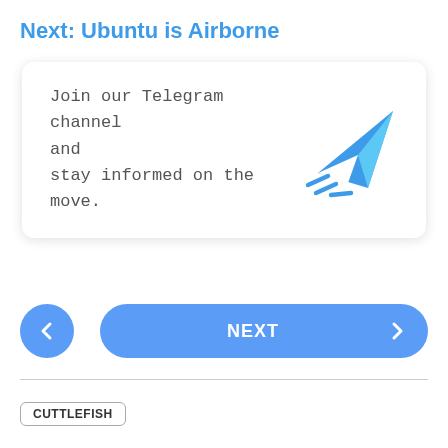Next: Ubuntu is Airborne
[Figure (infographic): White card with rounded corners and drop shadow containing text 'Join our Telegram channel and stay informed on the move.' alongside a blue Telegram paper plane icon with motion lines.]
[Figure (infographic): Navigation buttons: a round blue back button with left chevron on the left, and a wide blue pill-shaped NEXT button with right chevron on the right.]
CUTTLEFISH